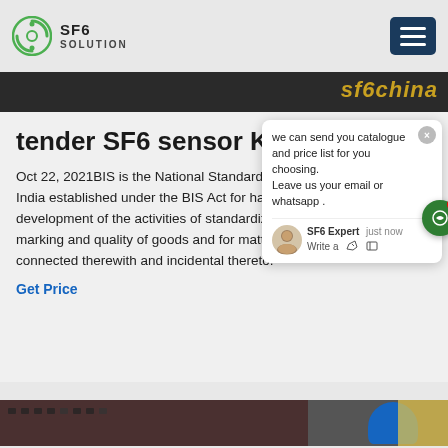SF6 SOLUTION
[Figure (screenshot): Banner image with text 'sf6china' in golden italic text on dark background]
tender SF6 sensor Kolkata
Oct 22, 2021BIS is the National Standard Body of India established under the BIS Act for harmonious development of the activities of standardization, marking and quality certification of goods and for matters connected therewith and incidental thereto.
Get Price
[Figure (screenshot): Chat popup overlay showing: 'we can send you catalogue and price list for you choosing. Leave us your email or whatsapp.' with SF6 Expert agent and just now timestamp, with write/like/attachment icons]
[Figure (photo): Bottom strip showing industrial equipment - electrical panels or switchgear with a blue helmet visible]